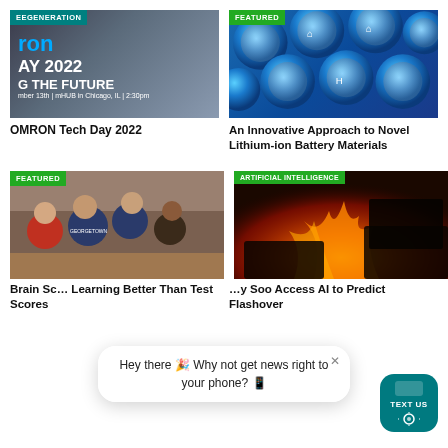[Figure (photo): OMRON Tech Day 2022 event banner with dark blue/grey background showing partial text 'ron', 'AY 2022', 'G THE FUTURE', date text, with EEGENERATION tag]
OMRON Tech Day 2022
[Figure (photo): Close-up photo of blue cylindrical lithium-ion battery cells with FEATURED tag]
An Innovative Approach to Novel Lithium-ion Battery Materials
[Figure (photo): Students leaning over a desk looking at work, wearing Georgetown shirts, with FEATURED tag]
Brain Science Explains Why Kids Are Learning Better Than Test Scores
[Figure (photo): Room on fire with orange flames and smoke, dark silhouette of furniture, with ARTIFICIAL INTELLIGENCE tag]
You Soo Access AI to Predict Flashover
Hey there 🎉 Why not get news right to your phone? 📱